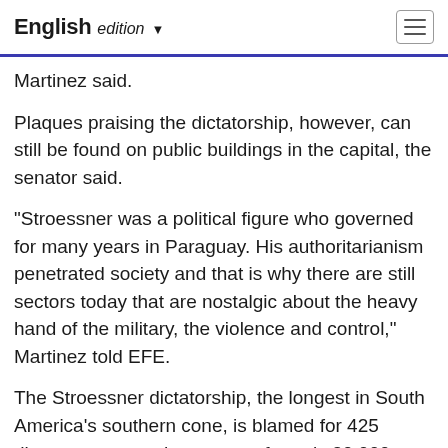English edition
Martinez said.
Plaques praising the dictatorship, however, can still be found on public buildings in the capital, the senator said.
"Stroessner was a political figure who governed for many years in Paraguay. His authoritarianism penetrated society and that is why there are still sectors today that are nostalgic about the heavy hand of the military, the violence and control," Martinez told EFE.
The Stroessner dictatorship, the longest in South America's southern cone, is blamed for 425 disappearances, the arrests of nearly 20,000 people, many of whom were tortured, and the forced exile of 20,814 others, the Paraguayan Truth and Justice Commission concluded.